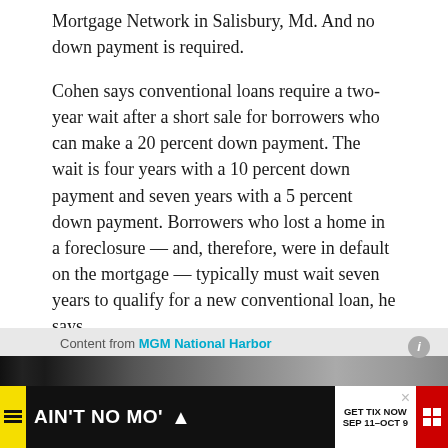Mortgage Network in Salisbury, Md. And no down payment is required.
Cohen says conventional loans require a two-year wait after a short sale for borrowers who can make a 20 percent down payment. The wait is four years with a 10 percent down payment and seven years with a 5 percent down payment. Borrowers who lost a home in a foreclosure — and, therefore, were in default on the mortgage — typically must wait seven years to qualify for a new conventional loan, he says.
Content from MGM National Harbor
[Figure (photo): Advertisement banner area with dark image strip and yellow/black AIN'T NO MO' theater advertisement with GET TIX NOW SEP 11-OCT 9]